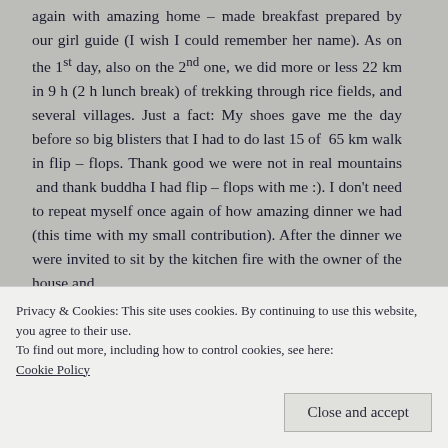again with amazing home – made breakfast prepared by our girl guide (I wish I could remember her name). As on the 1st day, also on the 2nd one, we did more or less 22 km in 9 h (2 h lunch break) of trekking through rice fields, and several villages. Just a fact: My shoes gave me the day before so big blisters that I had to do last 15 of 65 km walk in flip – flops. Thank good we were not in real mountains and thank buddha I had flip – flops with me :). I don't need to repeat myself once again of how amazing dinner we had (this time with my small contribution). After the dinner we were invited to sit by the kitchen fire with the owner of the house and
Privacy & Cookies: This site uses cookies. By continuing to use this website, you agree to their use.
To find out more, including how to control cookies, see here:
Cookie Policy
Close and accept